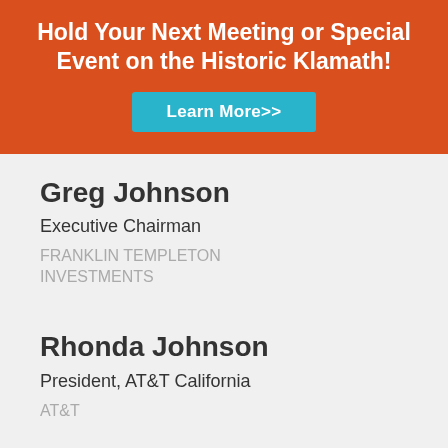Hold Your Next Meeting or Special Event on the Historic Klamath!
Learn More>>
Greg Johnson
Executive Chairman
FRANKLIN TEMPLETON INVESTMENTS
Rhonda Johnson
President, AT&T California
AT&T
Alan Jones
Bay Area Northwest Market